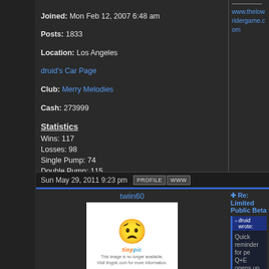Joined: Mon Feb 12, 2007 6:48 am
Posts: 1833
Location: Los Angeles
druid's Car Page
Club: Merry Melodies
Cash: 273999
www.thelowridergame.com
Statistics
Wins: 117
Losses: 98
Single Pump: 74
Double Pump: 115
Street: 108
Challenge Player
Single Pump  [dropdown]
Any Suspension  [dropdown]
Bet Cars? [checkbox]
Ranked? [checkbox]
[Challenge button]
Sun May 29, 2011 9:23 pm
twiin60
[Figure (illustration): TinyPic placeholder avatar with sad yellow smiley face and tinypic.com logo]
Joined: Sun Nov 28, 2010 2:30 am
Posts: 40
twiin60's Car Page
Club: lowriders 4 life
Cash: 26598
Re: Limited Public Beta
druid wrote:
Quick reminder for pe...
Q+E opens up a che...
available as the shop...
i dont get it im on the new